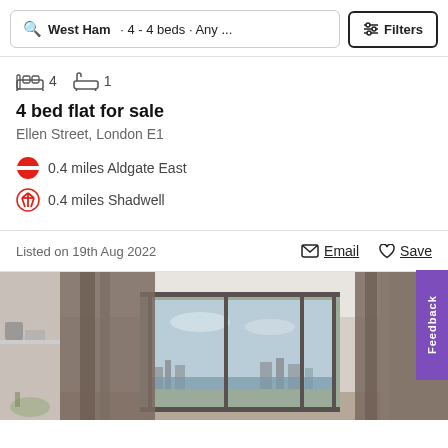West Ham · 4 - 4 beds · Any ... Filters
4  1
4 bed flat for sale
Ellen Street, London E1
0.4 miles Aldgate East
0.4 miles Shadwell
Listed on 19th Aug 2022
Email  Save
[Figure (photo): Interior room photo showing a modern flat with large sliding glass doors/balcony, curtains, and a city skyline view in the background]